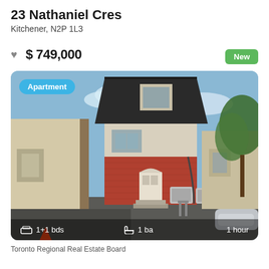23 Nathaniel Cres
Kitchener, N2P 1L3
$ 749,000
New
[Figure (photo): Exterior photo of a two-storey brick apartment building with dark roof, white entry door, two AC units, and a car partially visible on the right. Shows adjacent buildings on either side. Badge says 'Apartment'. Footer shows 1+1 bds, 1 ba, 1 hour.]
Toronto Regional Real Estate Board